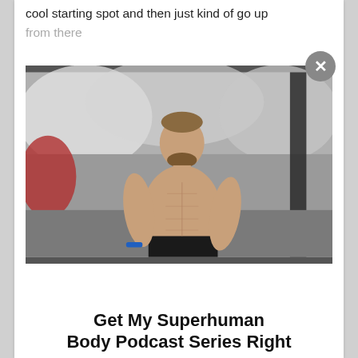cool starting spot and then just kind of go up from there
[Figure (photo): A shirtless muscular man with a beard standing in a gym or fitness facility with a snowy/abstract mural background. He is wearing dark shorts and a blue fitness tracker wristband.]
Get My Superhuman Body Podcast Series Right